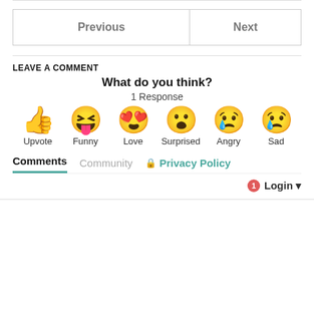| Previous | Next |
| --- | --- |
LEAVE A COMMENT
What do you think?
1 Response
[Figure (infographic): Six emoji reaction icons with labels: Upvote (thumbs up), Funny (laughing face with tongue), Love (heart eyes), Surprised (wow face), Angry (crying/angry face), Sad (sad face with tear)]
Comments   Community   🔒 Privacy Policy
1  Login